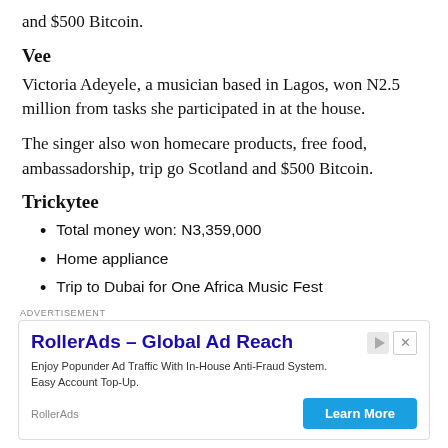and $500 Bitcoin.
Vee
Victoria Adeyele, a musician based in Lagos, won N2.5 million from tasks she participated in at the house.
The singer also won homecare products, free food, ambassadorship, trip go Scotland and $500 Bitcoin.
Trickytee
Total money won: N3,359,000
Home appliance
Trip to Dubai for One Africa Music Fest
Paint
Acm Bitcoin
ADVERTISEMENT
RollerAds – Global Ad Reach
Enjoy Popunder Ad Traffic With In-House Anti-Fraud System. Easy Account Top-Up.
RollerAds
Learn More